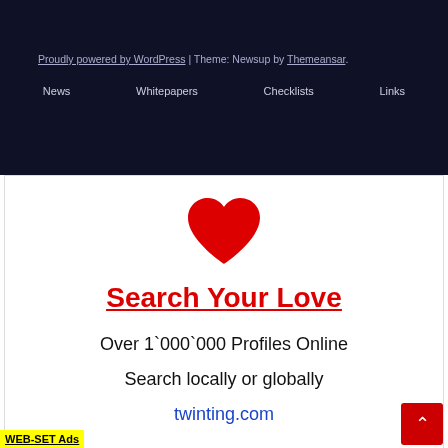Proudly powered by WordPress | Theme: Newsup by Themeansar.
News   Whitepapers   Checklists   Links
[Figure (illustration): Red heart icon centered above the Search Your Love heading]
Search Your Love
Over 1`000`000 Profiles Online
Search locally or globally
twinting.com
WEB-SET Ads